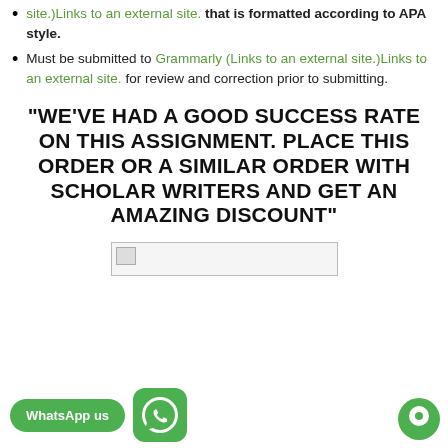site.)Links to an external site. that is formatted according to APA style.
Must be submitted to Grammarly (Links to an external site.)Links to an external site. for review and correction prior to submitting.
"WE'VE HAD A GOOD SUCCESS RATE ON THIS ASSIGNMENT. PLACE THIS ORDER OR A SIMILAR ORDER WITH SCHOLAR WRITERS AND GET AN AMAZING DISCOUNT"
[Figure (other): Broken image placeholder (rectangular box with small image icon)]